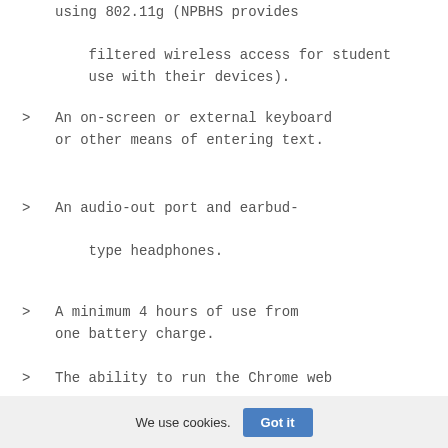using 802.11g (NPBHS provides filtered wireless access for student use with their devices).
An on-screen or external keyboard or other means of entering text.
An audio-out port and earbud-type headphones.
A minimum 4 hours of use from one battery charge.
The ability to run the Chrome web browser that will allow it to access
We use cookies.